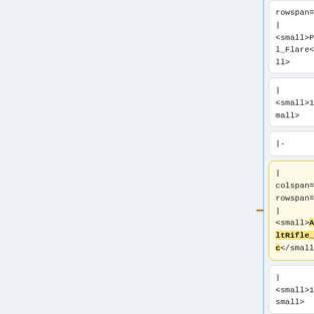rowspan="1" |
<small>Pistol_Flare</small>
rowspan="1" |
<small>Pistol_Flare</small>
|
<small>15</small>
|
<small>15</small>
|-
|-
|
colspan="2"
rowspan="1"
|
<small><b>AssaultRifle_Medic</b></small>
|
colspan="2"
rowspan="1"
|
<small><b>AssaultRifle_SCAR</b></small>
|
<small>100</small>
|
<small>100</small>